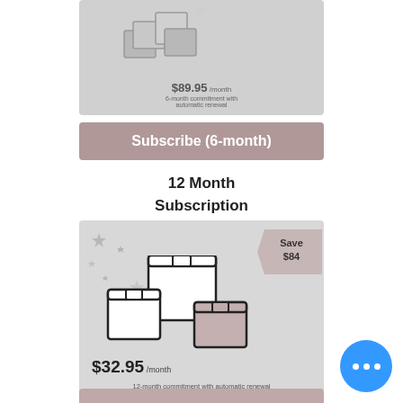[Figure (illustration): Partially visible product card with grayscale box illustration and price $89.95/month, 6-month subscription]
Subscribe (6-month)
12 Month Subscription
[Figure (illustration): 12-month subscription card showing stacked boxes illustration with sparkle stars, 'Save $84' arrow badge, price $32.95/month, 12-month commitment with automatic renewal]
$32.95 /month
12-month commitment with automatic renewal